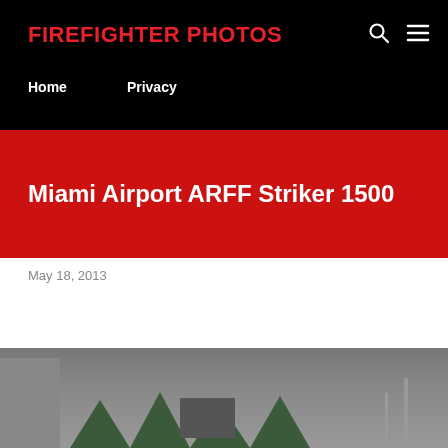FIREFIGHTER PHOTOS
Home
Privacy
Miami Airport ARFF Striker 1500
May 18, 2013
[Figure (photo): Outdoor photo showing trees, a building structure, and light poles at Miami Airport]